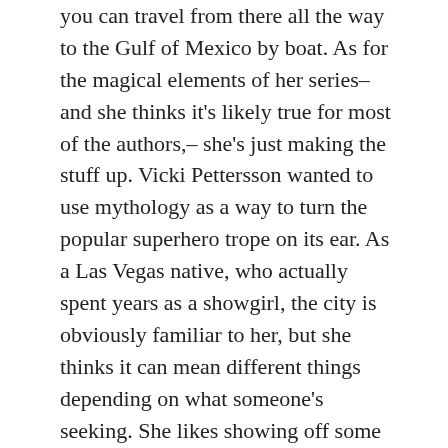you can travel from there all the way to the Gulf of Mexico by boat. As for the magical elements of her series– and she thinks it's likely true for most of the authors,– she's just making the stuff up. Vicki Pettersson wanted to use mythology as a way to turn the popular superhero trope on its ear. As a Las Vegas native, who actually spent years as a showgirl, the city is obviously familiar to her, but she thinks it can mean different things depending on what someone's seeking. She likes showing off some of her own favorite locations and explaining Las Vegas' historical identity as a tiny desert town where everyone knows each other, only with this big, bright bulge in the middle. She rediscovers her city in finding new places for Joanna to create mayhem.
Jeaniene Frost never knew her first Night Huntress